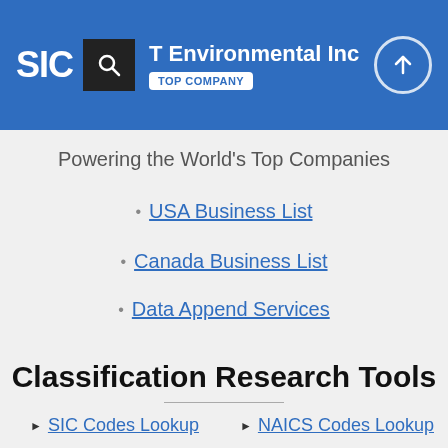SIC | T Environmental Inc | TOP COMPANY
Powering the World's Top Companies
USA Business List
Canada Business List
Data Append Services
Classification Research Tools
SIC Codes Lookup
NAICS Codes Lookup